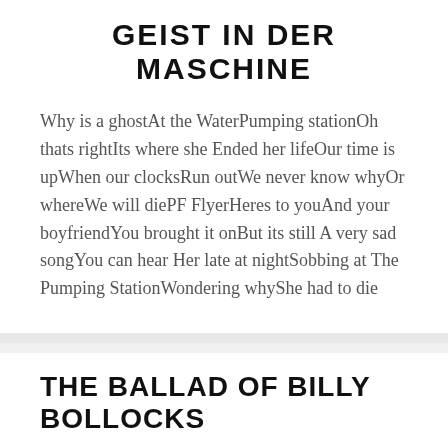GEIST IN DER MASCHINE
Why is a ghostAt the WaterPumping stationOh thats rightIts where she Ended her lifeOur time is upWhen our clocksRun outWe never know whyOr whereWe will diePF FlyerHeres to youAnd your boyfriendYou brought it onBut its still A very sad songYou can hear Her late at nightSobbing at The Pumping StationWondering whyShe had to die
THE BALLAD OF BILLY BOLLOCKS
ChorusDown the chip shopHe saw MaryLovely Plaice QueenQuite ContraryBilly Bollocks Went to townOn his favorite ponyOff to visit Steven Forkhead'sHouse of Fine